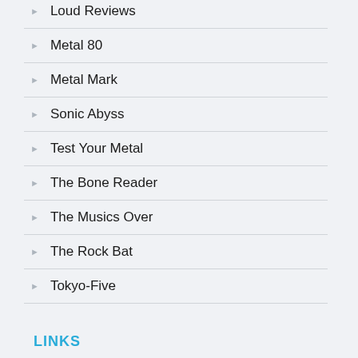Loud Reviews
Metal 80
Metal Mark
Sonic Abyss
Test Your Metal
The Bone Reader
The Musics Over
The Rock Bat
Tokyo-Five
LINKS